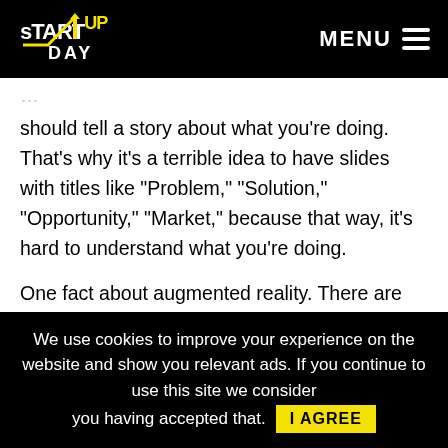STARTUP DAY — MENU
should tell a story about what you're doing. That's why it's a terrible idea to have slides with titles like "Problem," "Solution," "Opportunity," "Market," because that way, it's hard to understand what you're doing.
One fact about augmented reality. There are currently five to six companies actively researching and developing the next-generation augmented reality glasses, including Facebook, which bought Oculus
We use cookies to improve your experience on the website and show you relevant ads. If you continue to use this site we consider you having accepted that. I AGREE